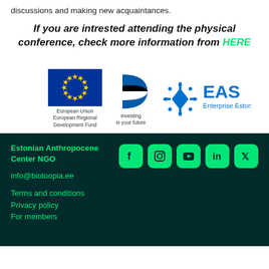discussions and making new acquaintances.
If you are intrested attending the physical conference, check more information from HERE
[Figure (logo): EU flag with text 'European Union European Regional Development Fund', Estonian flag logo with text 'Investing in your future', and EAS Enterprise Estonia logo]
Estonian Anthropocene Center NGO
info@biotoopia.ee
Terms and conditions
Privacy policy
For members